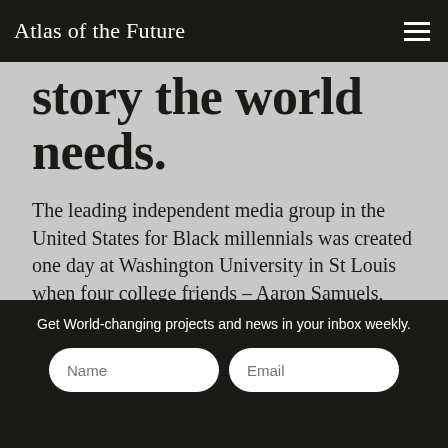Atlas of the Future
story the world needs.
The leading independent media group in the United States for Black millennials was created one day at Washington University in St Louis when four college friends – Aaron Samuels, Morgan DeBaun, Jonathan Jackson and Jeff Nelson (all pictured below) – were reflecting on the importance of Black
Get World-changing projects and news in your inbox weekly.